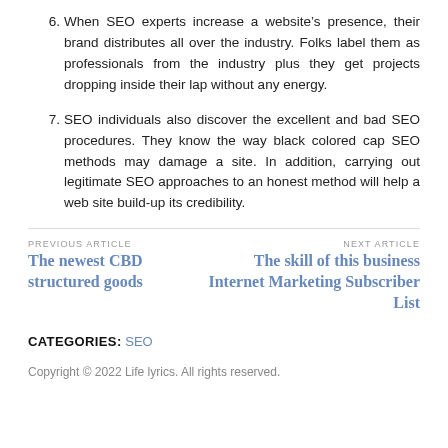6. When SEO experts increase a website’s presence, their brand distributes all over the industry. Folks label them as professionals from the industry plus they get projects dropping inside their lap without any energy.
7. SEO individuals also discover the excellent and bad SEO procedures. They know the way black colored cap SEO methods may damage a site. In addition, carrying out legitimate SEO approaches to an honest method will help a web site build-up its credibility.
PREVIOUS ARTICLE
The newest CBD structured goods
NEXT ARTICLE
The skill of this business Internet Marketing Subscriber List
CATEGORIES: SEO
Copyright © 2022 Life lyrics. All rights reserved.